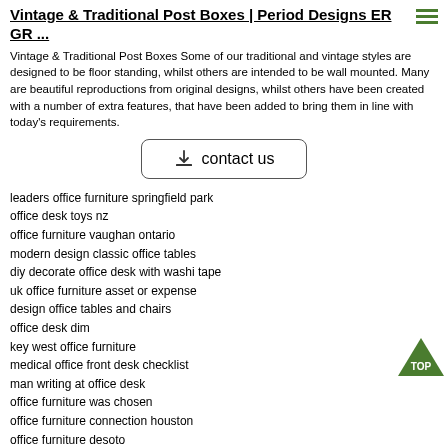Vintage & Traditional Post Boxes | Period Designs ER GR ...
Vintage & Traditional Post Boxes Some of our traditional and vintage styles are designed to be floor standing, whilst others are intended to be wall mounted. Many are beautiful reproductions from original designs, whilst others have been created with a number of extra features, that have been added to bring them in line with today's requirements.
[Figure (other): Contact us button with download icon]
leaders office furniture springfield park
office desk toys nz
office furniture vaughan ontario
modern design classic office tables
diy decorate office desk with washi tape
uk office furniture asset or expense
design office tables and chairs
office desk dim
key west office furniture
medical office front desk checklist
man writing at office desk
office furniture was chosen
office furniture connection houston
office furniture desoto
office furniture quotation